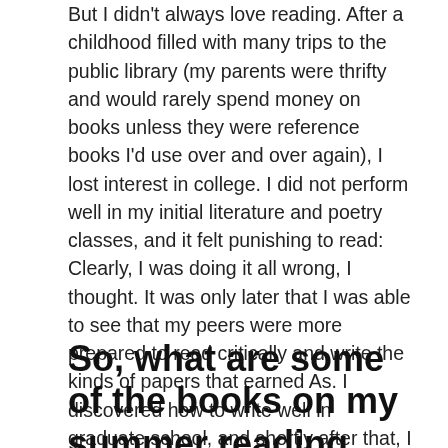But I didn't always love reading. After a childhood filled with many trips to the public library (my parents were thrifty and would rarely spend money on books unless they were reference books I'd use over and over again), I lost interest in college. I did not perform well in my initial literature and poetry classes, and it felt punishing to read: Clearly, I was doing it all wrong, I thought. It was only later that I was able to see that my peers were more prepared to read critically and write the kinds of papers that earned As. I discovered how to write well in graduate school, and shortly after that, I began reading again. I am heartened by CAS faculty and staff who work closely with students to recognize their potential and nourish their curiosity so they can thrive in college and beyond.
So, what are some of the books on my summer reading list?